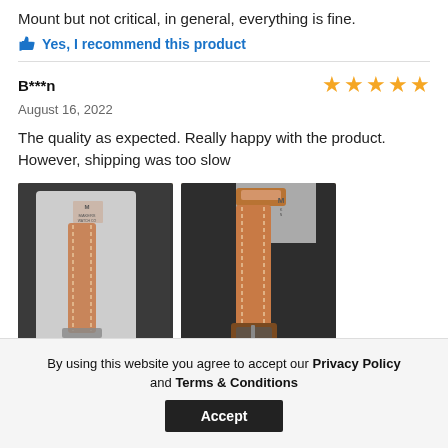Mount but not critical, in general, everything is fine.
👍 Yes, I recommend this product
B***n
August 16, 2022
The quality as expected. Really happy with the product. However, shipping was too slow
[Figure (photo): Two photos of brown leather watch bands in packaging]
By using this website you agree to accept our Privacy Policy and Terms & Conditions
Accept